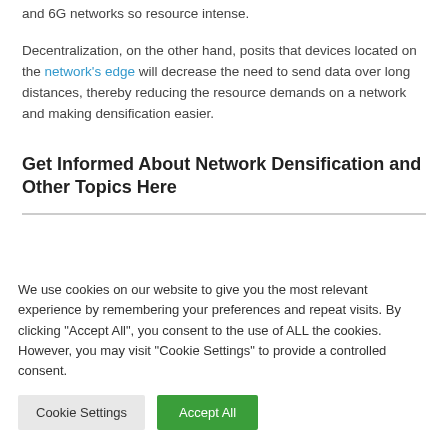and 6G networks so resource intense.
Decentralization, on the other hand, posits that devices located on the network's edge will decrease the need to send data over long distances, thereby reducing the resource demands on a network and making densification easier.
Get Informed About Network Densification and Other Topics Here
We use cookies on our website to give you the most relevant experience by remembering your preferences and repeat visits. By clicking “Accept All”, you consent to the use of ALL the cookies. However, you may visit "Cookie Settings" to provide a controlled consent.